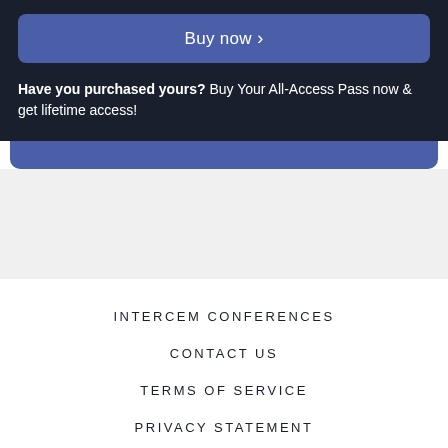Buy now
Have you purchased yours? Buy Your All-Access Pass now & get lifetime access!
INTERCEM CONFERENCES
CONTACT US
TERMS OF SERVICE
PRIVACY STATEMENT
⚡ Powered by HeySummit © Copyright 2022 INTERCEM. All rights reserved.